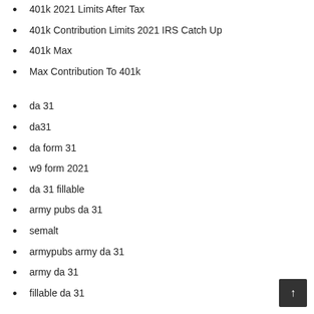401k 2021 Limits After Tax
401k Contribution Limits 2021 IRS Catch Up
401k Max
Max Contribution To 401k
da 31
da31
da form 31
w9 form 2021
da 31 fillable
army pubs da 31
semalt
armypubs army da 31
army da 31
fillable da 31